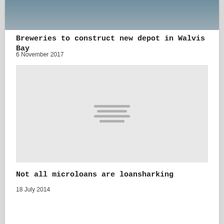[Figure (photo): Cropped photo showing people from waist down, likely at a groundbreaking event]
Breweries to construct new depot in Walvis Bay
6 November 2017
[Figure (photo): Placeholder image with grey bars indicating an image that failed to load]
Not all microloans are loansharking
18 July 2014